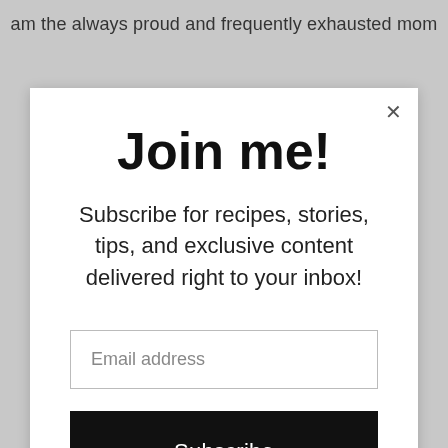am the always proud and frequently exhausted mom
Join me!
Subscribe for recipes, stories, tips, and exclusive content delivered right to your inbox!
Email address
Subscribe